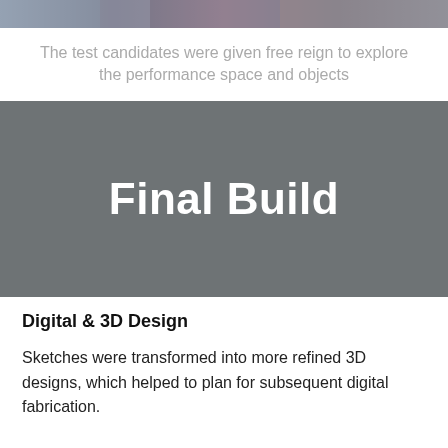[Figure (photo): Partial photo strip showing people in a performance/exploration space, cropped at top of page]
The test candidates were given free reign to explore the performance space and objects
Final Build
Digital & 3D Design
Sketches were transformed into more refined 3D designs, which helped to plan for subsequent digital fabrication.